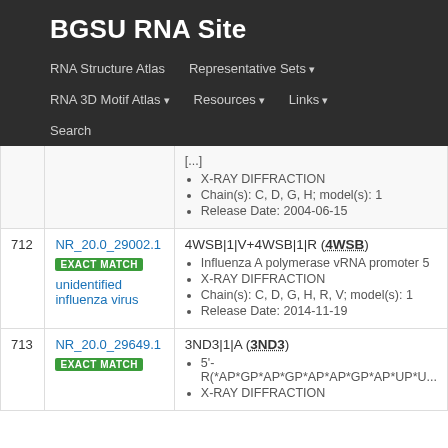BGSU RNA Site
RNA Structure Atlas | Representative Sets ▾ | RNA 3D Motif Atlas ▾ | Resources ▾ | Links ▾ | Search
| # | ID / Match | Entry Info |
| --- | --- | --- |
|  |  | [...]
X-RAY DIFFRACTION
Chain(s): C, D, G, H; model(s): 1
Release Date: 2004-06-15 |
| 712 | NR_20.0_29002.1 EXACT MATCH unidentified influenza virus | 4WSB|1|V+4WSB|1|R (4WSB)
Influenza A polymerase vRNA promoter 5
X-RAY DIFFRACTION
Chain(s): C, D, G, H, R, V; model(s): 1
Release Date: 2014-11-19 |
| 713 | NR_20.0_29649.1 EXACT MATCH | 3ND3|1|A (3ND3)
5'-R(*AP*GP*AP*GP*AP*AP*GP*AP*UP*U...
X-RAY DIFFRACTION |